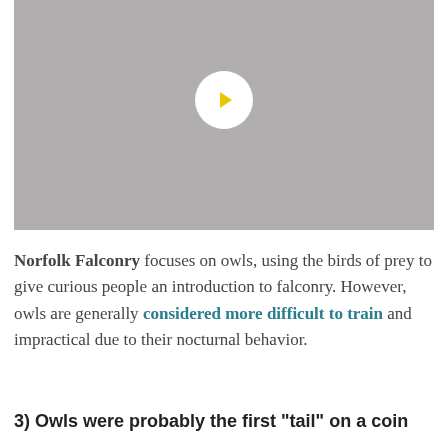[Figure (screenshot): Video player placeholder with gray background and white circular play button containing a yellow triangle play icon]
Norfolk Falconry focuses on owls, using the birds of prey to give curious people an introduction to falconry. However, owls are generally considered more difficult to train and impractical due to their nocturnal behavior.
3) Owls were probably the first "tail" on a coin